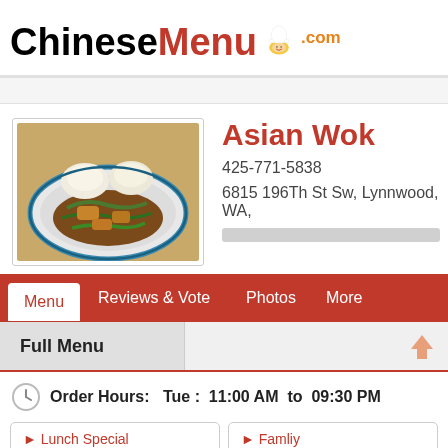ChineseMenu.com
Asian Wok
425-771-5838
6815 196Th St Sw, Lynnwood, WA,
[Figure (photo): Photo of Asian stir-fry dish with rice served on a blue-rimmed plate]
Menu | Reviews & Vote | Photos | More
Full Menu
Order Hours:  Tue :  11:00 AM  to  09:30 PM
▶ Lunch Special
▶ Famliy